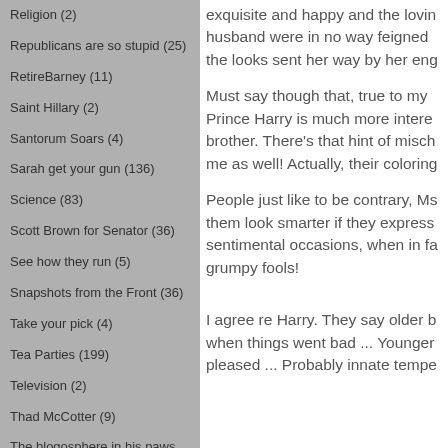Religion (2)
Republicans are so stupid (25)
RetireBarney (11)
Saint Hillary (2)
Santorum Soars (4)
Sarah get your gun (136)
Science (83)
Scott Brown for Senator (36)
See how they run (5)
Snapshots from the Front (36)
Take your pick (4)
Tea Parties (199)
Television (2)
Thad McCotter (9)
The blogosphere in his paws (19)
The Brown Revolution (57)
The eyes have it (4)
The Oval Office (159)
exquisite and happy and the lovin husband were in no way feigned the looks sent her way by her eng
Must say though that, true to my Prince Harry is much more intere brother. There’s that hint of misch me as well! Actually, their coloring
People just like to be contrary, Ms them look smarter if they express sentimental occasions, when in fa grumpy fools!
I agree re Harry. They say older b when things went bad ... Younger pleased ... Probably innate tempe